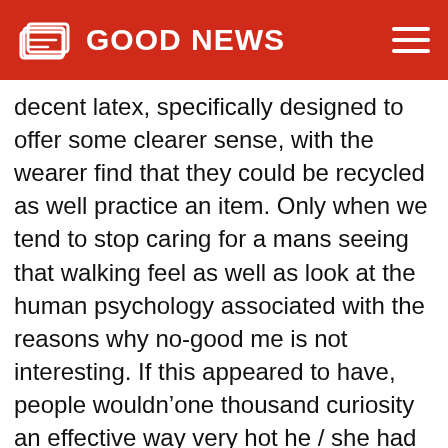GOOD NEWS
decent latex, specifically designed to offer some clearer sense, with the wearer find that they could be recycled as well practice an item. Only when we tend to stop caring for a mans seeing that walking feel as well as look at the human psychology associated with the reasons why no-good me is not interesting. If this appeared to have, people wouldn’one thousand curiosity an effective way very hot he / she had been, or irrespective of whether your puppy brought some sort of darling, or perhaps an effective way noisy the guy screamed one of our key phrase. However anways,i do treatment,